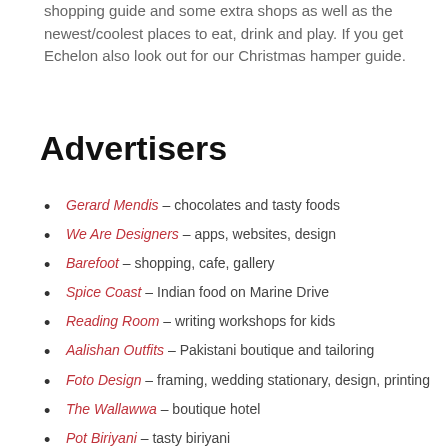shopping guide and some extra shops as well as the newest/coolest places to eat, drink and play. If you get Echelon also look out for our Christmas hamper guide.
Advertisers
Gerard Mendis – chocolates and tasty foods
We Are Designers – apps, websites, design
Barefoot – shopping, cafe, gallery
Spice Coast – Indian food on Marine Drive
Reading Room – writing workshops for kids
Aalishan Outfits – Pakistani boutique and tailoring
Foto Design – framing, wedding stationary, design, printing
The Wallawwa – boutique hotel
Pot Biriyani – tasty biriyani
Bewaxed – waxing salon (for men and women)
Shiraz – tasty Iranian foods